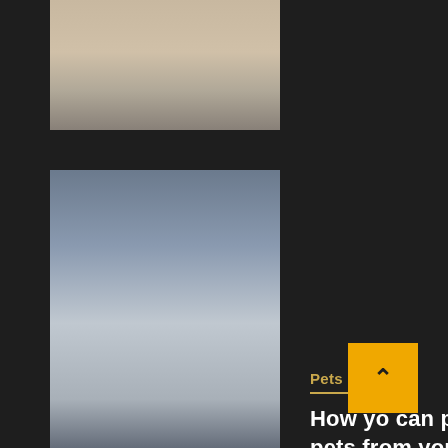[Figure (photo): Partial top image showing blurred person/clothing in teal tones]
[Figure (photo): Middle image showing a woman sitting on a bed with a dog, blurred lifestyle photo]
Pets
How yo can protect your pets from your work
5 months ago   Wajazali
[Figure (photo): Bottom partial image showing a hand holding a phone with a coffee cup]
[Figure (other): Yellow back-to-top button with upward chevron arrow]